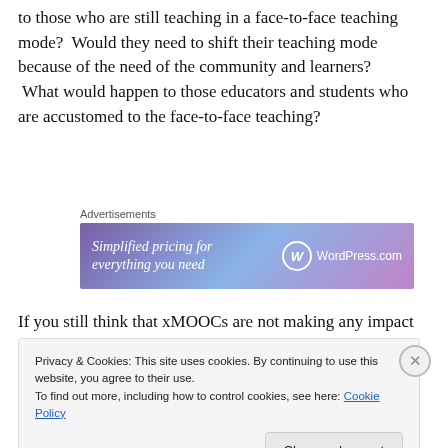to those who are still teaching in a face-to-face teaching mode?  Would they need to shift their teaching mode because of the need of the community and learners?  What would happen to those educators and students who are accustomed to the face-to-face teaching?
[Figure (other): WordPress.com advertisement banner: 'Simplified pricing for everything you need' with WordPress.com logo]
If you still think that xMOOCs are not making any impact on HE, I reckon you have to think again, as
Privacy & Cookies: This site uses cookies. By continuing to use this website, you agree to their use.
To find out more, including how to control cookies, see here: Cookie Policy